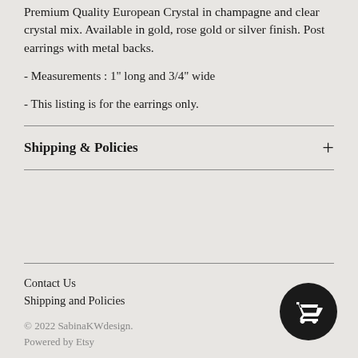Premium Quality European Crystal in champagne and clear crystal mix. Available in gold, rose gold or silver finish. Post earrings with metal backs.
- Measurements : 1" long and 3/4" wide
- This listing is for the earrings only.
Shipping & Policies
Contact Us
Shipping and Policies
© 2022 SabinaKWdesign.
Powered by Etsy